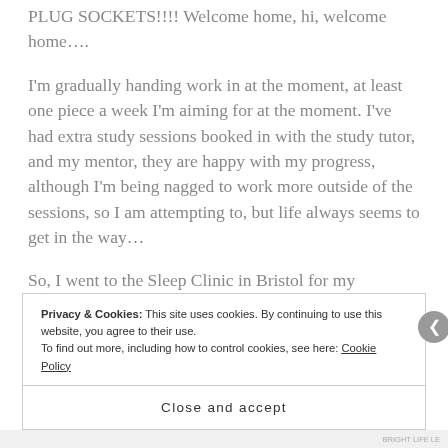PLUG SOCKETS!!!! Welcome home, hi, welcome home….
I'm gradually handing work in at the moment, at least one piece a week I'm aiming for at the moment. I've had extra study sessions booked in with the study tutor, and my mentor, they are happy with my progress, although I'm being nagged to work more outside of the sessions, so I am attempting to, but life always seems to get in the way…
So, I went to the Sleep Clinic in Bristol for my
Privacy & Cookies: This site uses cookies. By continuing to use this website, you agree to their use.
To find out more, including how to control cookies, see here: Cookie Policy
Close and accept